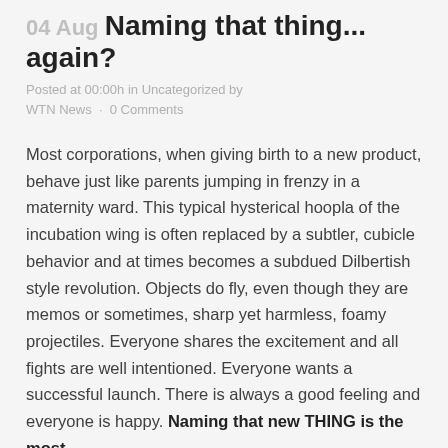04 Aug Naming that thing... again?
Posted at 00:00h in Uncategorized by WTN News · 0 Comments
Most corporations, when giving birth to a new product, behave just like parents jumping in frenzy in a maternity ward. This typical hysterical hoopla of the incubation wing is often replaced by a subtler, cubicle behavior and at times becomes a subdued Dilbertish style revolution. Objects do fly, even though they are memos or sometimes, sharp yet harmless, foamy projectiles. Everyone shares the excitement and all fights are well intentioned. Everyone wants a successful launch. There is always a good feeling and everyone is happy. Naming that new THING is the most